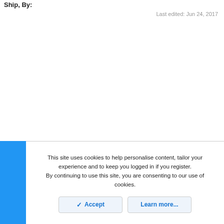Ship, By:
Last edited: Jun 24, 2017
This site uses cookies to help personalise content, tailor your experience and to keep you logged in if you register.
By continuing to use this site, you are consenting to our use of cookies.
Accept   Learn more...